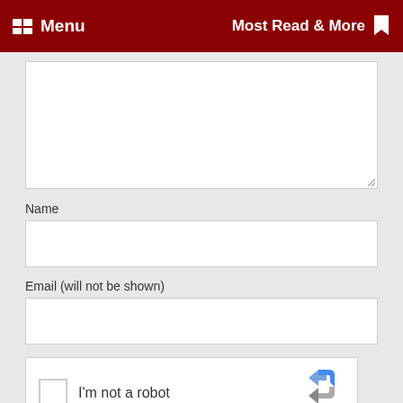Menu   Most Read & More
[Figure (screenshot): Textarea input box (partially visible, with resize handle at bottom-right)]
Name
[Figure (screenshot): Name text input field (empty, white box)]
Email (will not be shown)
[Figure (screenshot): Email text input field (empty, white box)]
[Figure (screenshot): reCAPTCHA widget with checkbox, 'I'm not a robot' text, and reCAPTCHA logo with Privacy and Terms links]
Notify me when people reply